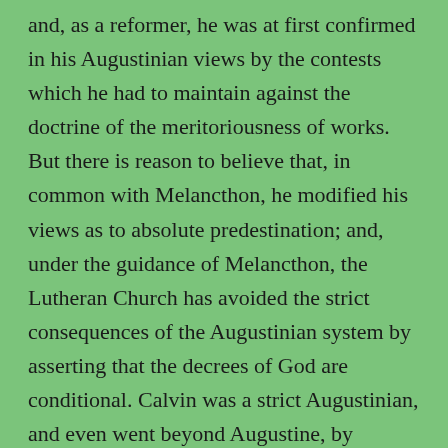and, as a reformer, he was at first confirmed in his Augustinian views by the contests which he had to maintain against the doctrine of the meritoriousness of works. But there is reason to believe that, in common with Melancthon, he modified his views as to absolute predestination; and, under the guidance of Melancthon, the Lutheran Church has avoided the strict consequences of the Augustinian system by asserting that the decrees of God are conditional. Calvin was a strict Augustinian, and even went beyond Augustine, by maintaining reprobation. He, and the early reformed theologians generally, in their religious controversies, not only admitted all the consequences of the Augustinian system, but, having once determined the idea of predestination, went beyond the premises so far as to maintain that the fall of man was itself predestinated by God (supralapsarianism). This view, however, did not meet with